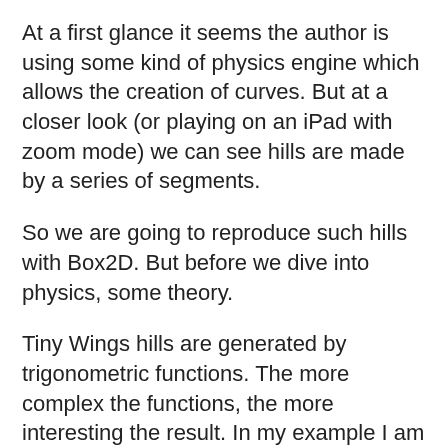At a first glance it seems the author is using some kind of physics engine which allows the creation of curves. But at a closer look (or playing on an iPad with zoom mode) we can see hills are made by a series of segments.
So we are going to reproduce such hills with Box2D. But before we dive into physics, some theory.
Tiny Wings hills are generated by trigonometric functions. The more complex the functions, the more interesting the result. In my example I am using a simple cosine, but feel free to try your own formulas and send me your results. I will be happy to publish them.